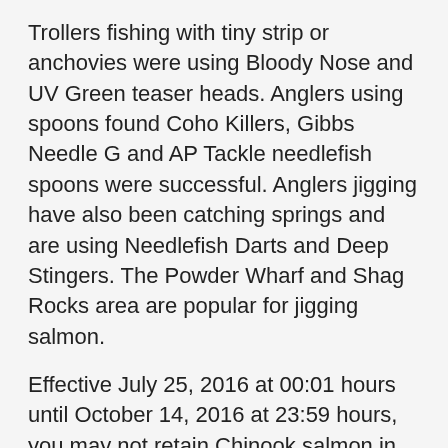Trollers fishing with tiny strip or anchovies were using Bloody Nose and UV Green teaser heads. Anglers using spoons found Coho Killers, Gibbs Needle G and AP Tackle needlefish spoons were successful. Anglers jigging have also been catching springs and are using Needlefish Darts and Deep Stingers. The Powder Wharf and Shag Rocks area are popular for jigging salmon.
Effective July 25, 2016 at 00:01 hours until October 14, 2016 at 23:59 hours, you may not retain Chinook salmon in the following waters: Subareas 18-6 to 18-8, 18-10.
Notable Catches – Dalton Labrau caught a 38.5 lb spring in Sooke on an anchovy in a red teaser to take the number one spot on our salmon leader board. Trevor Webb (age 17)